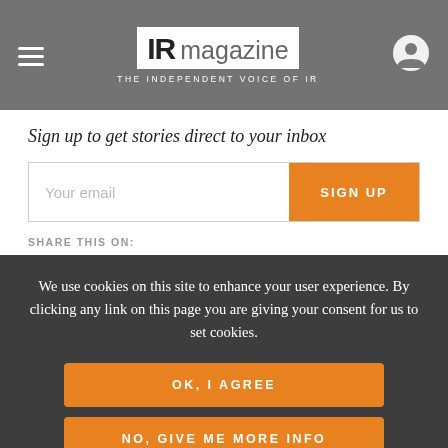[Figure (logo): IR magazine logo with tagline THE INDEPENDENT VOICE OF IR on grey header bar with hamburger menu and user icon]
Sign up to get stories direct to your inbox
Your email
SIGN UP
SHARE THIS ON:
We use cookies on this site to enhance your user experience. By clicking any link on this page you are giving your consent for us to set cookies.
OK, I AGREE
NO, GIVE ME MORE INFO